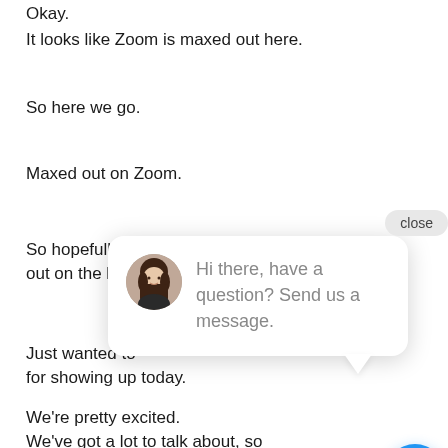Okay.
It looks like Zoom is maxed out here.
So here we go.
Maxed out on Zoom.
So hopefully you're checking us out on the live s
Just wanted to
for showing up today.
We're pretty excited.
We've got a lot to talk about, so
[Figure (screenshot): A live chat widget popup showing a female avatar photo, a 'close' button, and the message 'Hi there, have a question? Send us a message.' with a blue chat button in the bottom right corner.]